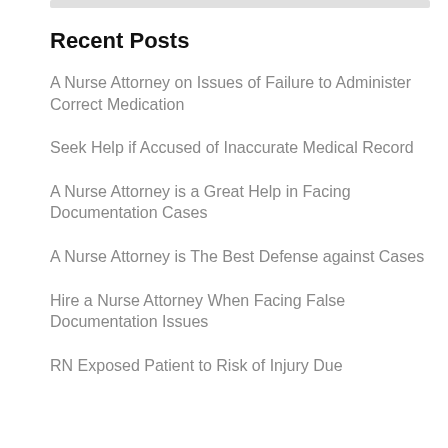Recent Posts
A Nurse Attorney on Issues of Failure to Administer Correct Medication
Seek Help if Accused of Inaccurate Medical Record
A Nurse Attorney is a Great Help in Facing Documentation Cases
A Nurse Attorney is The Best Defense against Cases
Hire a Nurse Attorney When Facing False Documentation Issues
RN Exposed Patient to Risk of Injury Due